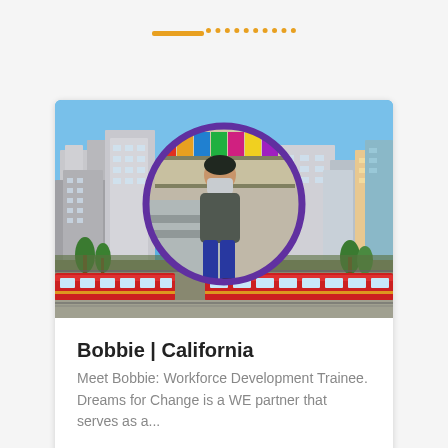[Figure (illustration): Decorative orange solid and dotted horizontal line bar at the top of the page]
[Figure (photo): Card with a city skyline background photo (San Diego) and a circular portrait of Bobbie, a person wearing a face mask, standing in what appears to be a food service or pantry area. The circle has a purple border.]
Bobbie | California
Meet Bobbie: Workforce Development Trainee. Dreams for Change is a WE partner that serves as a...